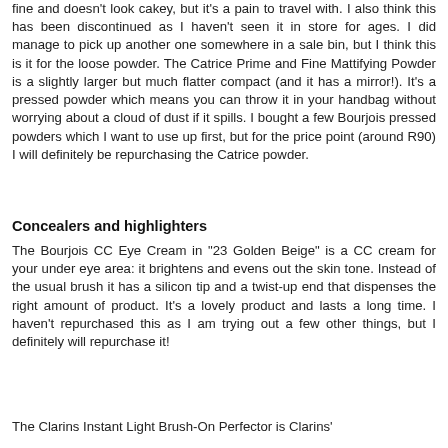fine and doesn't look cakey, but it's a pain to travel with. I also think this has been discontinued as I haven't seen it in store for ages. I did manage to pick up another one somewhere in a sale bin, but I think this is it for the loose powder. The Catrice Prime and Fine Mattifying Powder is a slightly larger but much flatter compact (and it has a mirror!). It's a pressed powder which means you can throw it in your handbag without worrying about a cloud of dust if it spills. I bought a few Bourjois pressed powders which I want to use up first, but for the price point (around R90) I will definitely be repurchasing the Catrice powder.
Concealers and highlighters
The Bourjois CC Eye Cream in "23 Golden Beige" is a CC cream for your under eye area: it brightens and evens out the skin tone. Instead of the usual brush it has a silicon tip and a twist-up end that dispenses the right amount of product. It's a lovely product and lasts a long time. I haven't repurchased this as I am trying out a few other things, but I definitely will repurchase it!
The Clarins Instant Light Brush-On Perfector is Clarins'